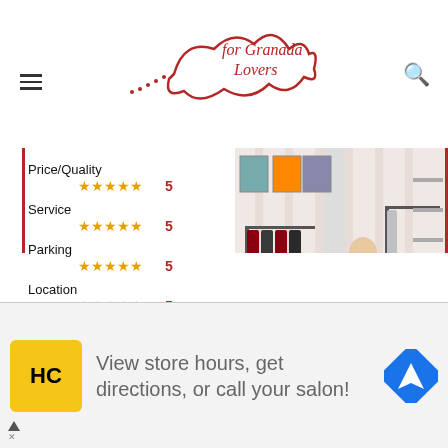for Granada Lovers (website header with logo, hamburger menu, and search icon)
| Category | Stars | Score |
| --- | --- | --- |
| Price/Quality | ★★★★★ | 5 |
| Service | ★★★★★ | 5 |
| Parking | ★★★★★ | 5 |
| Location | ★★★★★ | 5 |
| Establishment | ★★★★★ | 5 |
[Figure (photo): Interior of a clothing shop with a man standing near a clothing rail; colorful prints on the wall, shelves with shoes, and garment racks with dark clothes visible.]
HOW TO GET
[Figure (screenshot): Advertisement banner: HC logo in yellow square, text 'View store hours, get directions, or call your salon!' and a navigation/directions icon on the right.]